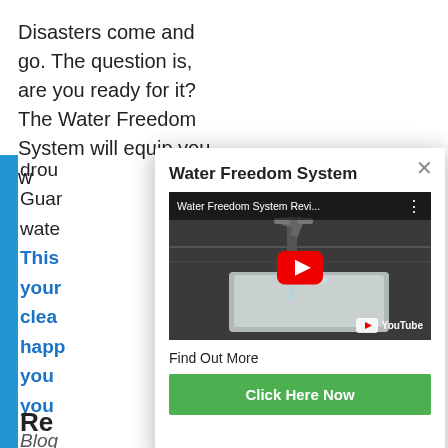Disasters come and go. The question is, are you ready for it? The Water Freedom System will equip you with the knowledge to survive droughts. Guaranteed to provide clean water...
This system will help your family have clean water and be happy no matter where you live and what happens to you
Blog
[Figure (screenshot): Modal popup showing Water Freedom System YouTube video embed with title 'Water Freedom System Revi...' and a faucet/tap image, with play button, YouTube logo, 'Find Out More' text, and a green 'Click Here Now' button]
Water Freedom System
Find Out More
Click Here Now